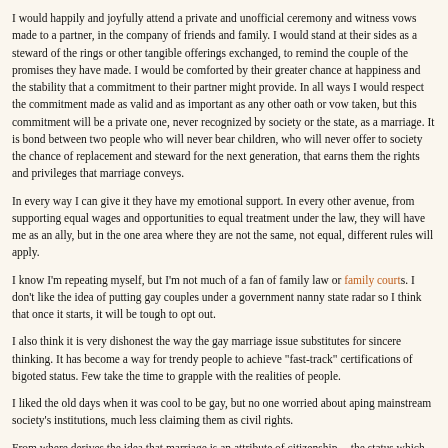I would happily and joyfully attend a private and unofficial ceremony and witness vows made to a partner, in the company of friends and family. I would stand at their sides as a steward of the rings or other tangible offerings exchanged, to remind the couple of the promises they have made. I would be comforted by their greater chance at happiness and the stability that a commitment to their partner might provide. In all ways I would respect the commitment made as valid and as important as any other oath or vow taken, but this commitment will be a private one, never recognized by society or the state, as a marriage. It is bond between two people who will never bear children, who will never offer to society the chance of replacement and steward for the next generation, that earns them the rights and privileges that marriage conveys.
In every way I can give it they have my emotional support. In every other avenue, from supporting equal wages and opportunities to equal treatment under the law, they will have me as an ally, but in the one area where they are not the same, not equal, different rules will apply.
I know I'm repeating myself, but I'm not much of a fan of family law or family courts. I don't like the idea of putting gay couples under a government nanny state radar so I think that once it starts, it will be tough to opt out.
I also think it is very dishonest the way the gay marriage issue substitutes for sincere thinking. It has become a way for trendy people to achieve "fast-track" certification of bigoted status. Few take the time to grapple with the realities of people.
I liked the old days when it was cool to be gay, but no one worried about aping mainstream society's institutions, much less claiming them as civil rights.
From where derives the idea that marriage is an attribute of citizenship -- the status which defines whether one is a first or second class citizen? I don't think legal inability to marry is any more of feature of citizenship than would be the social inability to ma